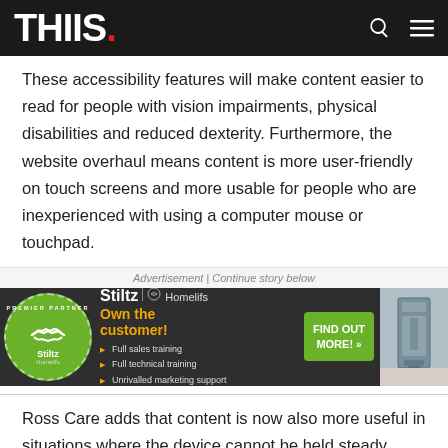THIIS.
These accessibility features will make content easier to read for people with vision impairments, physical disabilities and reduced dexterity. Furthermore, the website overhaul means content is more user-friendly on touch screens and more usable for people who are inexperienced with using a computer mouse or touchpad.
Advertisement | Continue story below
[Figure (photo): Stiltz Homelifts advertisement banner: Premier Partner badge on green circle with handshake icon, dark background with 'Own the customer!' in orange text, bullet points listing Full sales training, Full technical training, Unrivalled marketing support, green Find Out More button, and photo of a home lift]
Ross Care adds that content is now also more useful in situations where the device cannot be held steady.